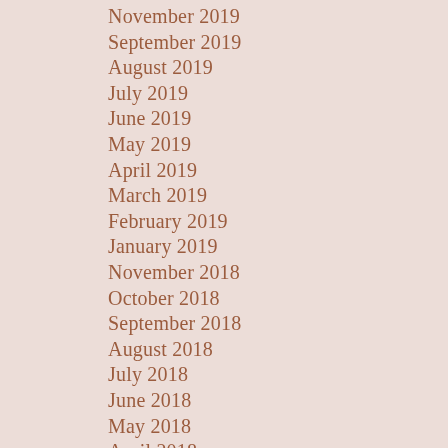November 2019
September 2019
August 2019
July 2019
June 2019
May 2019
April 2019
March 2019
February 2019
January 2019
November 2018
October 2018
September 2018
August 2018
July 2018
June 2018
May 2018
April 2018
March 2018
February 2018